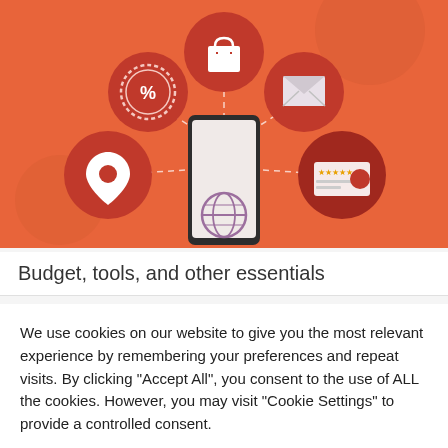[Figure (illustration): Orange/coral background illustration showing a smartphone in the center connected by dashed lines to five circular icons: a discount/percent badge (top-left area), a shopping bag (top center), an envelope/mail (top right area), a location pin (bottom left), and a card/ID with star ratings (bottom right). A globe icon is visible on the phone screen.]
Budget, tools, and other essentials
We use cookies on our website to give you the most relevant experience by remembering your preferences and repeat visits. By clicking "Accept All", you consent to the use of ALL the cookies. However, you may visit "Cookie Settings" to provide a controlled consent.